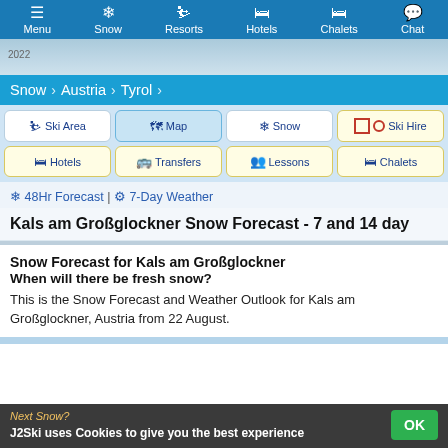Menu | Snow | Resorts | Hotels | Chalets | Chat
[Figure (screenshot): Hero ski mountain background image strip with year 2022]
Snow > Austria > Tyrol
[Figure (screenshot): Navigation buttons grid: Ski Area, Map, Snow, Ski Hire, Hotels, Transfers, Lessons, Chalets]
❄ 48Hr Forecast | ⚙ 7-Day Weather
Kals am Großglockner Snow Forecast - 7 and 14 day
Snow Forecast for Kals am Großglockner
When will there be fresh snow?
This is the Snow Forecast and Weather Outlook for Kals am Großglockner, Austria from 22 August.
J2Ski uses Cookies to give you the best experience | OK